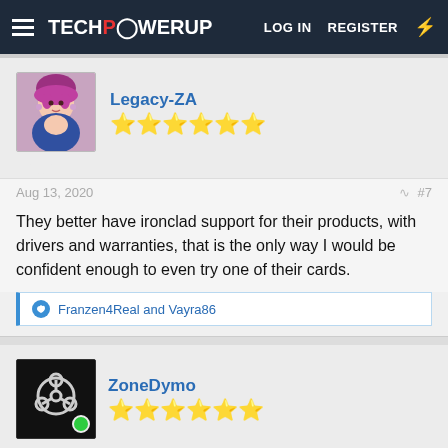TECHPOWERUP  LOG IN  REGISTER
Legacy-ZA
★★★★★★
Aug 13, 2020  #7
They better have ironclad support for their products, with drivers and warranties, that is the only way I would be confident enough to even try one of their cards.
Franzen4Real and Vayra86
ZoneDymo
★★★★★★
Aug 13, 2020  #8
bring it on